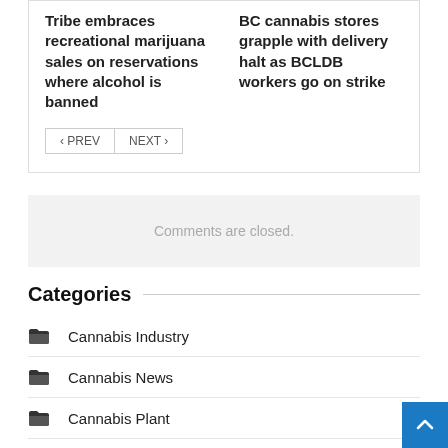Tribe embraces recreational marijuana sales on reservations where alcohol is banned
BC cannabis stores grapple with delivery halt as BCLDB workers go on strike
< PREV  NEXT >
Comments are closed.
Categories
Cannabis Industry
Cannabis News
Cannabis Plant
Cannabis Pot